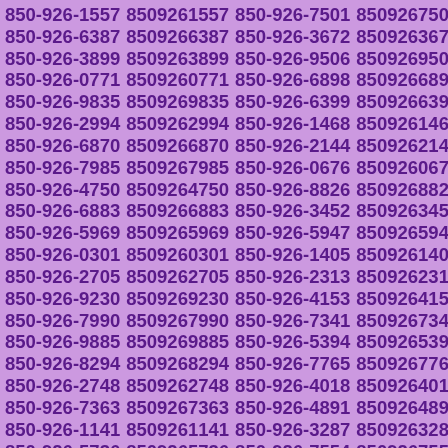850-926-1557 8509261557 850-926-7501 8509267501
850-926-6387 8509266387 850-926-3672 8509263672
850-926-3899 8509263899 850-926-9506 8509269506
850-926-0771 8509260771 850-926-6898 8509266898
850-926-9835 8509269835 850-926-6399 8509266399
850-926-2994 8509262994 850-926-1468 8509261468
850-926-6870 8509266870 850-926-2144 8509262144
850-926-7985 8509267985 850-926-0676 8509260676
850-926-4750 8509264750 850-926-8826 8509268826
850-926-6883 8509266883 850-926-3452 8509263452
850-926-5969 8509265969 850-926-5947 8509265947
850-926-0301 8509260301 850-926-1405 8509261405
850-926-2705 8509262705 850-926-2313 8509262313
850-926-9230 8509269230 850-926-4153 8509264153
850-926-7990 8509267990 850-926-7341 8509267341
850-926-9885 8509269885 850-926-5394 8509265394
850-926-8294 8509268294 850-926-7765 8509267765
850-926-2748 8509262748 850-926-4018 8509264018
850-926-7363 8509267363 850-926-4891 8509264891
850-926-1141 8509261141 850-926-3287 8509263287
850-926-5736 8509265736 850-926-7554 8509267554